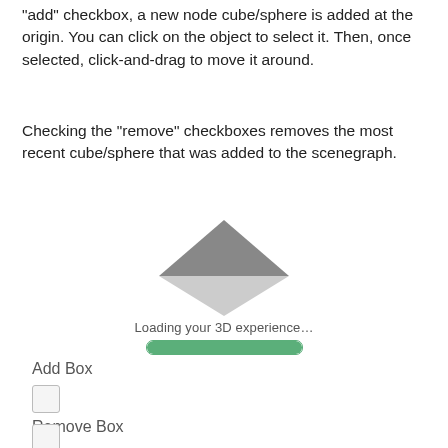“add” checkbox, a new node cube/sphere is added at the origin. You can click on the object to select it. Then, once selected, click-and-drag to move it around.
Checking the “remove” checkboxes removes the most recent cube/sphere that was added to the scenegraph.
[Figure (screenshot): 3D viewer loading screen showing a grey diamond/rhombus shape with the text 'Loading your 3D experience...' and a green progress bar beneath it.]
Add Box
Remove Box